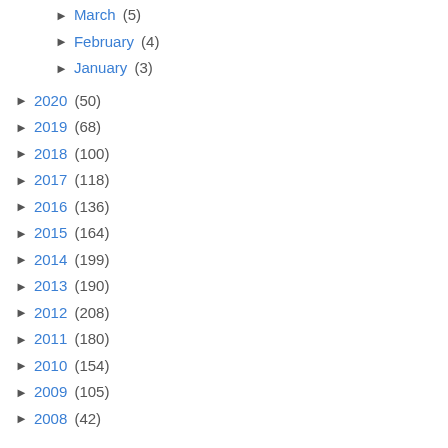March (5)
February (4)
January (3)
2020 (50)
2019 (68)
2018 (100)
2017 (118)
2016 (136)
2015 (164)
2014 (199)
2013 (190)
2012 (208)
2011 (180)
2010 (154)
2009 (105)
2008 (42)